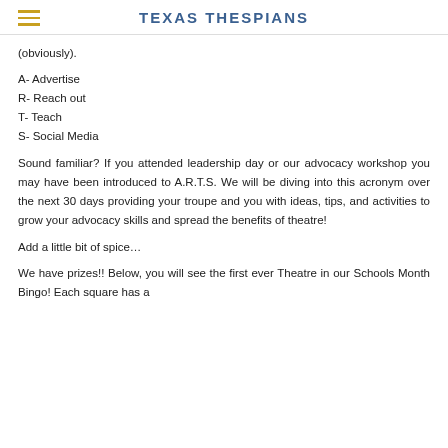TEXAS THESPIANS
(obviously).
A- Advertise
R- Reach out
T- Teach
S- Social Media
Sound familiar? If you attended leadership day or our advocacy workshop you may have been introduced to A.R.T.S. We will be diving into this acronym over the next 30 days providing your troupe and you with ideas, tips, and activities to grow your advocacy skills and spread the benefits of theatre!
Add a little bit of spice…
We have prizes!! Below, you will see the first ever Theatre in our Schools Month Bingo! Each square has a